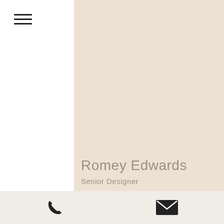[Figure (other): Hamburger menu icon (three horizontal lines) in top left]
[Figure (photo): Large beige/tan colored background panel occupying the right portion of the page]
Romey Edwards
Senior Designer
Romey grew up on the Arcadian plains of Suffolk where, perversely, he cultivated a
[Figure (other): Bottom navigation bar with phone icon on the left and envelope/mail icon on the right]